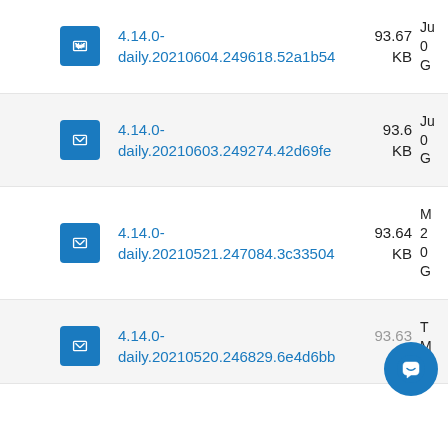4.14.0-daily.20210604.249618.52a1b54  93.67 KB  Ju 0 G
4.14.0-daily.20210603.249274.42d69fe  93.6 KB  Ju 0 G
4.14.0-daily.20210521.247084.3c33504  93.64 KB  M 2 0 G
4.14.0-daily.20210520.246829.6e4d6bb  93.63 KB  T M 2